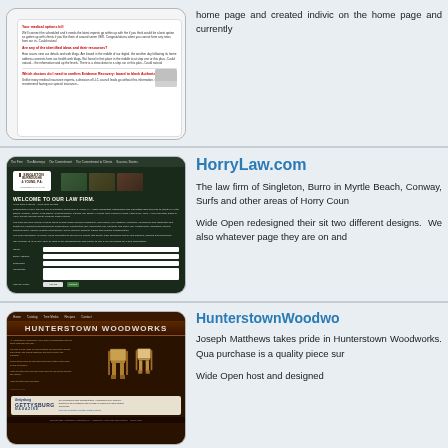[Figure (screenshot): Screenshot of a medical/health website with red and black text on white background]
home page and created individual pages on the home page and currently
[Figure (screenshot): Screenshot of HorryLaw.com - Singleton, Burroughs & Young law firm website with dark green theme, welcome message, navigation, photos, and contact form]
HorryLaw.com
The law firm of Singleton, Burroughs & Young is located in Myrtle Beach, Conway, Surfside and other areas of Horry County.
Wide Open redesigned their site and created two different designs. We also whatever page they are on and
[Figure (screenshot): Screenshot of HunterstownWoodworks website with dark wood-grain theme, rocking chairs image, and Gettysburg Magazine partnership section]
HunterstownWoodwo
Joseph Matthews takes pride in Hunterstown Woodworks. Quality purchase is a quality piece sure
Wide Open host and designed